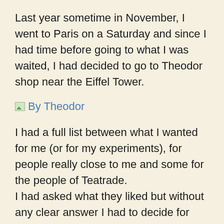Last year sometime in November, I went to Paris on a Saturday and since I had time before going to what I was waited, I had decided to go to Theodor shop near the Eiffel Tower.
[Figure (photo): Broken/placeholder image icon labeled 'By Theodor' in blue link text]
I had a full list between what I wanted for me (or for my experiments), for people really close to me and some for the people of Teatrade.
I had asked what they liked but without any clear answer I had to decide for myself and I went for two flavoured teas; the two being a kind of signature teas for Theodor (at least for me), Thé du Loup and Je t'aime.
I sent them by the snail mail and I was glad to hear and see that people were receiving it.
Then came the tricky part when Rachel asked me